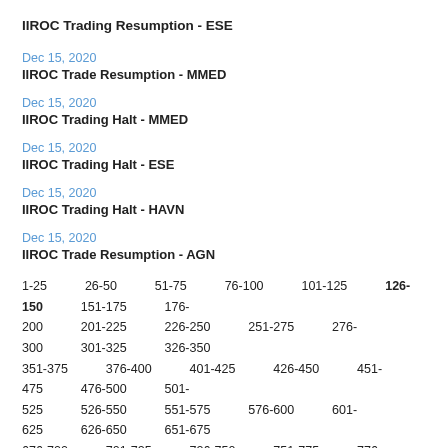IIROC Trading Resumption - ESE
Dec 15, 2020
IIROC Trade Resumption - MMED
Dec 15, 2020
IIROC Trading Halt - MMED
Dec 15, 2020
IIROC Trading Halt - ESE
Dec 15, 2020
IIROC Trading Halt - HAVN
Dec 15, 2020
IIROC Trade Resumption - AGN
1-25  26-50  51-75  76-100  101-125  126-150  151-175  176-200  201-225  226-250  251-275  276-300  301-325  326-350  351-375  376-400  401-425  426-450  451-475  476-500  501-525  526-550  551-575  576-600  601-625  626-650  651-675  676-700  701-725  726-750  751-775  776-800  801-825  826-